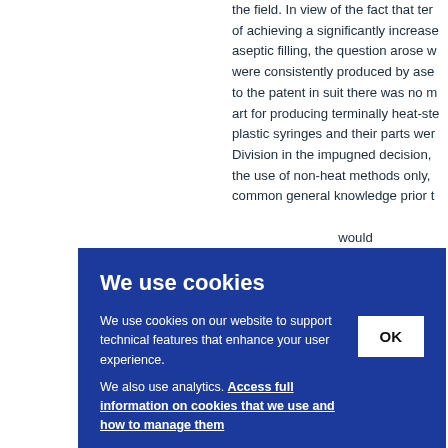the field. In view of the fact that ter... of achieving a significantly increase... aseptic filling, the question arose w... were consistently produced by ase... to the patent in suit there was no m... art for producing terminally heat-ste... plastic syringes and their parts wer... Division in the impugned decision, ... the use of non-heat methods only, ... common general knowledge prior t...
We use cookies
We use cookies on our website to support technical features that enhance your user experience. We also use analytics. Access full information on cookies that we use and how to manage them